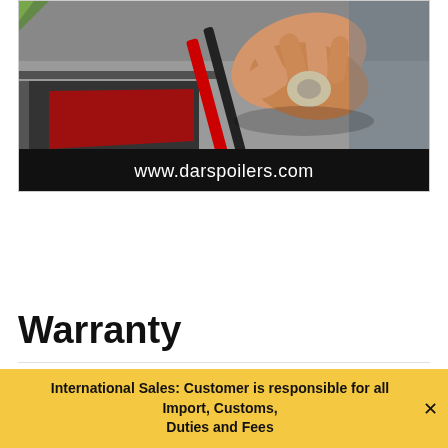[Figure (screenshot): A person using hands to apply or peel adhesive tape on a car spoiler near a rear car light. Lower portion of image shows a black bar with the text 'www.darspoilers.com' in white.]
Warranty
DAR Spoilers are proudly manufactured and
International Sales: Customer is responsible for all Import, Customs, Duties and Fees